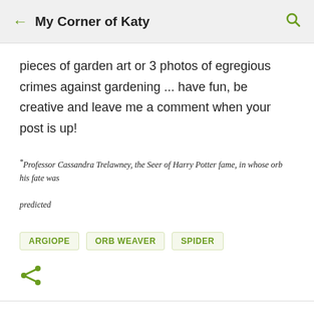My Corner of Katy
pieces of garden art or 3 photos of egregious crimes against gardening ... have fun, be creative and leave me a comment when your post is up!
*Professor Cassandra Trelawney, the Seer of Harry Potter fame, in whose orb his fate was predicted
ARGIOPE
ORB WEAVER
SPIDER